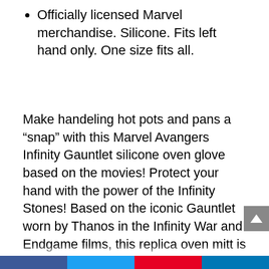Officially licensed Marvel merchandise. Silicone. Fits left hand only. One size fits all.
Make handeling hot pots and pans a “snap” with this Marvel Avangers Infinity Gauntlet silicone oven glove based on the movies! Protect your hand with the power of the Infinity Stones! Based on the iconic Gauntlet worn by Thanos in the Infinity War and Endgame films, this replica oven mitt is made from flexible, heat resistant silicone (up to 445 degrees F). Makes a great gift for fans of the Marvel Avangers comics and movies! For the guy that has everything – now he can conquer the universe... or at least hold hot things. Officially licensed Marvel merchandise. Silicone. Fits left hand only. One size fits all.